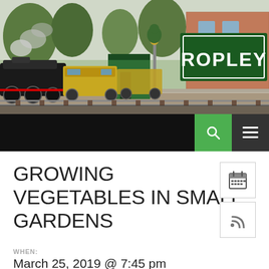[Figure (photo): Ropley station photo showing steam and diesel locomotives at a platform with a green ROPLEY sign, topiary, and brick building in the background]
[Figure (screenshot): Black navigation bar with green search icon button and white hamburger menu button]
GROWING VEGETABLES IN SMALL GARDENS
WHEN:
March 25, 2019 @ 7:45 pm
WHERE:
Sports Pavilion
COST: